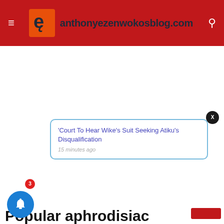anthonyezenwokosblog.com
[Figure (screenshot): White advertisement/blank area below header]
X
'Court To Hear Wike's Suit Seeking Atiku's Disqualification
15 minutes ago
3
Popular aphrodisiac